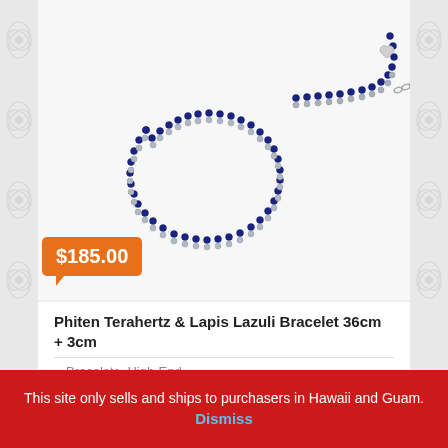[Figure (photo): Phiten Terahertz and Lapis Lazuli beaded bracelet, double strand with navy blue and silver beads, with lobster clasp and chain extension, on white background]
$185.00
Phiten Terahertz & Lapis Lazuli Bracelet 36cm + 3cm
Bracelets, High-End
This site only sells and ships to purchasers in Hawaii and Guam.
Dismiss